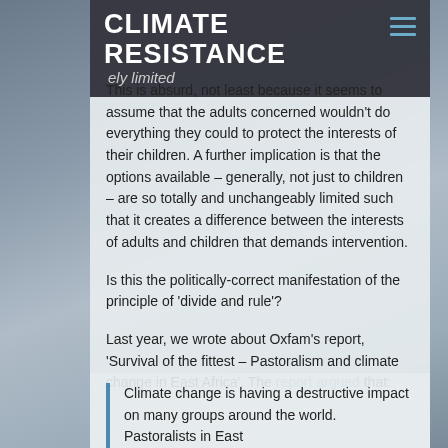CLIMATE RESISTANCE
This is absurd, not least because it seems to assume that the adults concerned wouldn't do everything they could to protect the interests of their children. A further implication is that the options available – generally, not just to children – are so totally and unchangeably limited such that it creates a difference between the interests of adults and children that demands intervention.
Is this the politically-correct manifestation of the principle of 'divide and rule'?
Last year, we wrote about Oxfam's report, 'Survival of the fittest – Pastoralism and climate change in East Africa'. The report argued that:
Climate change is having a destructive impact on many groups around the world. Pastoralists in East